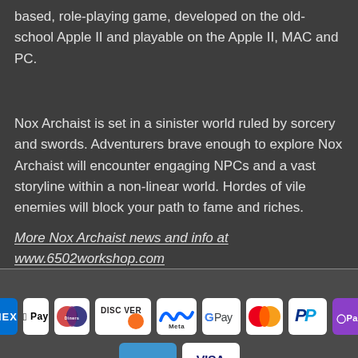based, role-playing game, developed on the old-school Apple II and playable on the Apple II, MAC and PC.
Nox Archaist is set in a sinister world ruled by sorcery and swords. Adventurers brave enough to explore Nox Archaist will encounter engaging NPCs and a vast storyline within a non-linear world. Hordes of vile enemies will block your path to fame and riches.
More Nox Archaist news and info at www.6502workshop.com
[Figure (infographic): Payment method logos: American Express, Apple Pay, Diners Club, Discover, Meta, Google Pay, Mastercard, PayPal, OPay, Venmo, Visa]